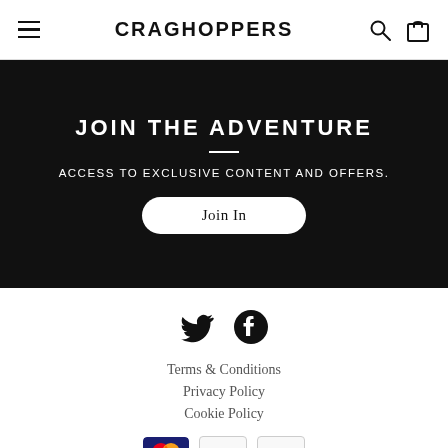CRAGHOPPERS
JOIN THE ADVENTURE
ACCESS TO EXCLUSIVE CONTENT AND OFFERS.
Join In
[Figure (illustration): Twitter and Facebook social media icons]
Terms & Conditions
Privacy Policy
Cookie Policy
[Figure (illustration): Payment icons: Mastercard and two blank card icons]
Copyright © Craghoppers 2022